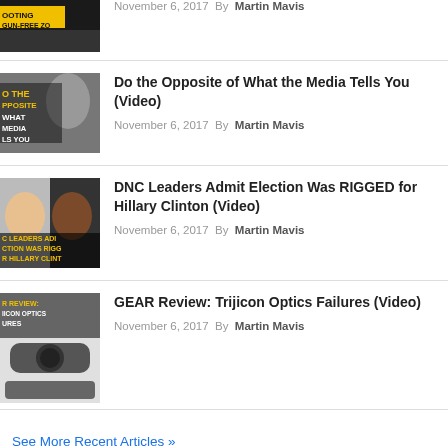November 6, 2017 By Martin Mavis
Do the Opposite of What the Media Tells You (Video) — November 6, 2017 By Martin Mavis
DNC Leaders Admit Election Was RIGGED for Hillary Clinton (Video) — November 6, 2017 By Martin Mavis
GEAR Review: Trijicon Optics Failures (Video) — November 6, 2017 By Martin Mavis
See More Recent Articles »